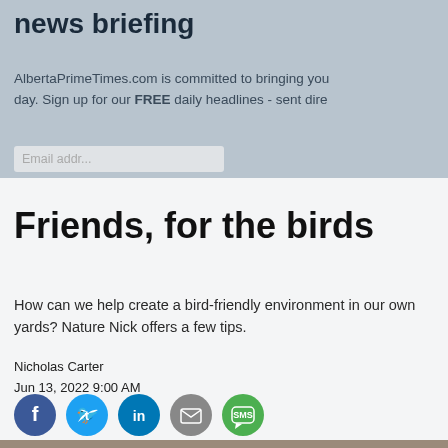news briefing
AlbertaPrimeTimes.com is committed to bringing you the best local news every day. Sign up for our FREE daily headlines - sent dire...
HOME > EDMONTON NEWS
Friends, for the birds
How can we help create a bird-friendly environment in our own yards? Nature Nick offers a few tips.
Nicholas Carter
Jun 13, 2022 9:00 AM
[Figure (infographic): Social share icons: Facebook (blue), Twitter (cyan), LinkedIn (blue), Email (grey), SMS (green)]
[Figure (photo): Bottom portion of article photo, brownish/grey tones visible]